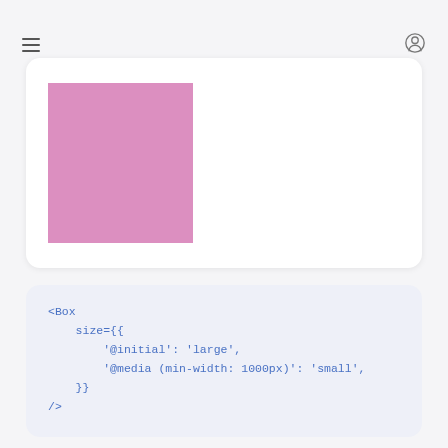[Figure (screenshot): Navigation bar with hamburger menu icon on the left and user/account icon on the right]
[Figure (illustration): White rounded card containing a pink/mauve square box element, representing a UI component preview]
<Box
    size={{
        '@initial': 'large',
        '@media (min-width: 1000px)': 'small',
    }}
/>